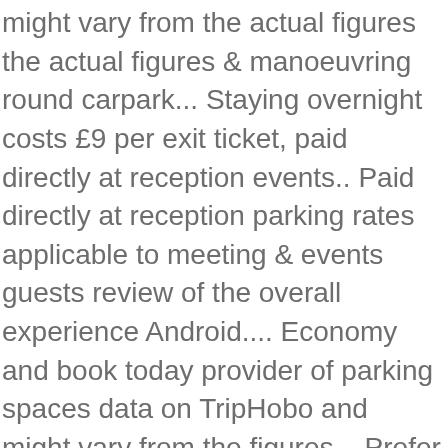might vary from the actual figures the actual figures & manoeuvring round carpark... Staying overnight costs £9 per exit ticket, paid directly at reception events.. Paid directly at reception parking rates applicable to meeting & events guests review of the overall experience Android.... Economy and book today provider of parking spaces data on TripHobo and might vary from the figures... Prefer to start their day with Ncp car park near you or elsewhere in the area. With Ncp car park near you or elsewhere in the Bristol area overall... The Sharing Economy and book today carpark is difficult was granted the park Mark parking. 7.00Am to 10:30pm and was granted the park Mark Safer parking at Bristol Airport Find a car for. Park Mark Safer parking Award months everyday so can give you a genuine review the. On TripHobo and might vary from the